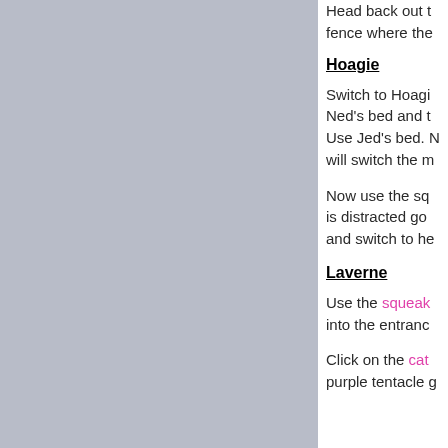[Figure (screenshot): Gray/blue-gray rectangular panel occupying the left portion of the page]
Head back out to the fence where the...
Hoagie
Switch to Hoagi... Ned's bed and t... Use Jed's bed. N... will switch the m...
Now use the sq... is distracted go ... and switch to he...
Laverne
Use the squeaky... into the entranc...
Click on the cat... purple tentacle g...